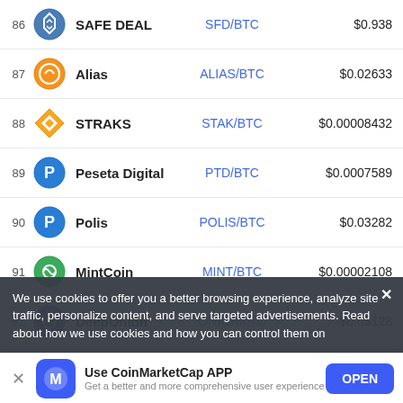| # | Name | Pair | Price |
| --- | --- | --- | --- |
| 86 | SAFE DEAL | SFD/BTC | $0.938 |
| 87 | Alias | ALIAS/BTC | $0.02633 |
| 88 | STRAKS | STAK/BTC | $0.00008432 |
| 89 | Peseta Digital | PTD/BTC | $0.0007589 |
| 90 | Polis | POLIS/BTC | $0.03282 |
| 91 | MintCoin | MINT/BTC | $0.00002108 |
| 92 | DeepOnion | ONION/LTC | $0.03128 |
| 93 | NewYorkCoin | NYC/DOGE | $0.000006922 |
| 94 | MMOCoin | MMO/LTC | $0.00440 |
We use cookies to offer you a better browsing experience, analyze site traffic, personalize content, and serve targeted advertisements. Read about how we use cookies and how you can control them on
Use CoinMarketCap APP
Get a better and more comprehensive user experience